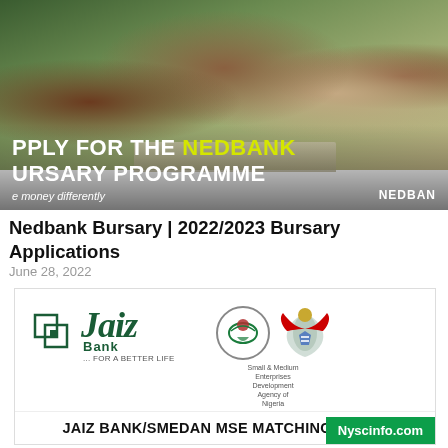[Figure (photo): Banner image showing students working on a laptop with overlay text: 'APPLY FOR THE NEDBANK BURSARY PROGRAMME'. Tagline: 'e money differently'. Brand: 'NEDBAN']
Nedbank Bursary | 2022/2023 Bursary Applications
June 28, 2022
[Figure (logo): Jaiz Bank and SMEDAN logos side by side. Bottom text: 'JAIZ BANK/SMEDAN MSE MATCHING FUNDS'. Nyscinfo.com badge in green.]